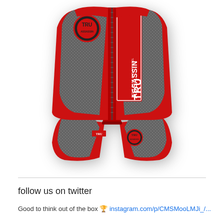[Figure (photo): Red and grey TRU Assassin fight gear — a sleeveless vest/top with zipper and matching shorts. The vest has a grey patterned side panel, a central zip, a TRU logo circle at the upper left, and a large red patch reading 'TRU ASSASSIN FIGHT GEAR AND APPAREL' running vertically on the right side. The shorts match in red and grey.]
follow us on twitter
Good to think out of the box 🏆 instagram.com/p/CMSMooLMJi_/...